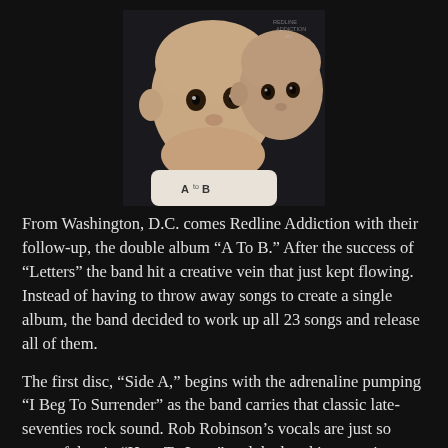[Figure (photo): Photo of two babies close together, one in the foreground wearing a onesie with 'A to B' text, other baby slightly behind to the right. Dark background studio photo with small watermark text in top right corner.]
From Washington, D.C. comes Redline Addiction with their follow-up, the double album “A To B.” After the success of “Letters” the band hit a creative vein that just kept flowing. Instead of having to throw away songs to create a single album, the band decided to work up all 23 songs and release all of them.
The first disc, "Side A," begins with the adrenaline pumping “I Beg To Surrender” as the band carries that classic late-seventies rock sound. Rob Robinson’s vocals are just so powerful as in “How To Lose” and the band just continues to rock hard, without overpowering the songs. They take a little off their classic rock sound to give the songs “Uptown” and “Ordinary Fool” a more pop appeal. The band is at their best during the blues shuffle of